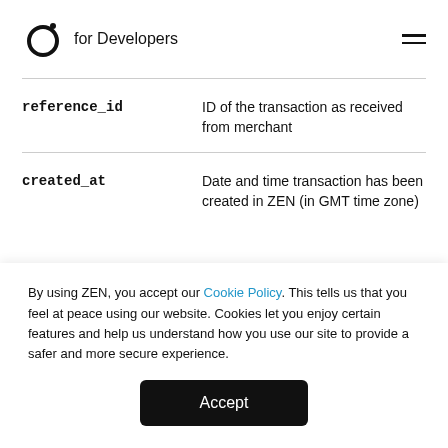for Developers
reference_id — ID of the transaction as received from merchant
created_at — Date and time transaction has been created in ZEN (in GMT time zone)
By using ZEN, you accept our Cookie Policy. This tells us that you feel at peace using our website. Cookies let you enjoy certain features and help us understand how you use our site to provide a safer and more secure experience.